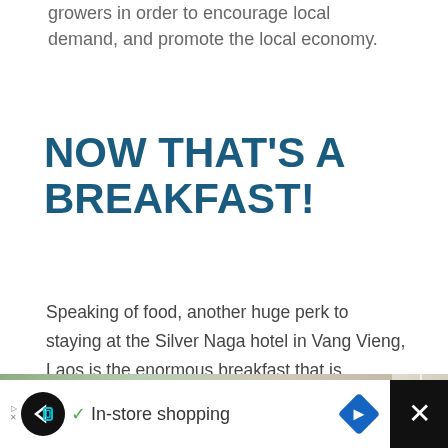growers in order to encourage local demand, and promote the local economy.
NOW THAT'S A BREAKFAST!
Speaking of food, another huge perk to staying at the Silver Naga hotel in Vang Vieng, Laos is the enormous breakfast that is complimentary with your room! And each morning your eyes will pop open when you see the spread set up in the restaurant.
[Figure (photo): Two food/restaurant photos side by side, partially visible at bottom of page]
[Figure (screenshot): Advertisement bar at bottom: black background with white content area showing a circular black icon with arrow and diamond logo, checkmark, 'In-store shopping' text, blue diamond arrow icon, and X close button]